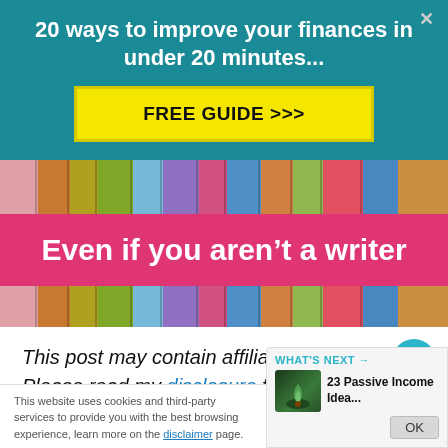20 ways to improve your finances in under 20 minutes...
[Figure (other): Yellow button labeled FREE GUIDE >>>]
[Figure (photo): Colorful books with pink banner overlay reading 'Even if you aren't a writer']
This post may contain affiliate links. Please read my disclosure for more information.
This website uses cookies and third-party services to provide you with the best browsing experience, learn more on the disclaimer page.
WHAT'S NEXT → 23 Passive Income Idea...